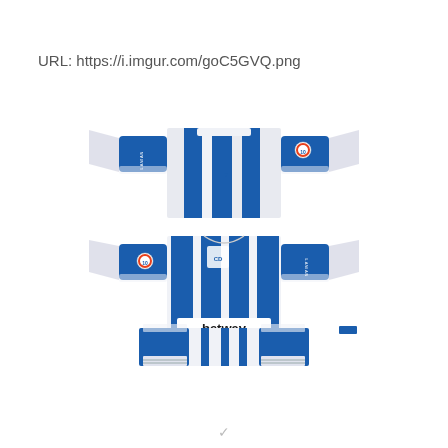URL: https://i.imgur.com/goC5GVQ.png
[Figure (illustration): Football/soccer kit template flat lay showing front and back of jersey with blue and white vertical stripes, blue sleeves, 'betway' sponsor text on front, LaLiga logo patch, and matching shorts. The kit belongs to CD Leganés.]